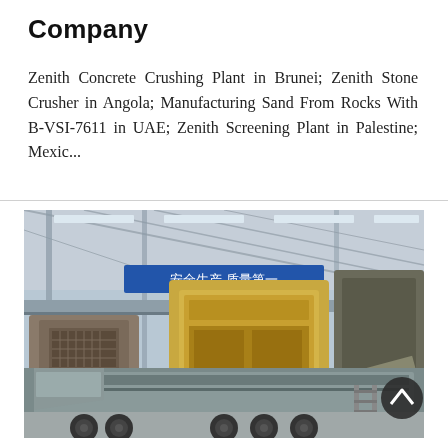Company
Zenith Concrete Crushing Plant in Brunei; Zenith Stone Crusher in Angola; Manufacturing Sand From Rocks With B-VSI-7611 in UAE; Zenith Screening Plant in Palestine; Mexic...
[Figure (photo): Industrial manufacturing facility interior showing large heavy machinery and mobile crushing/screening equipment on a truck trailer. A blue Chinese safety banner (安全生产 质量第一) is visible in the background. The facility has a steel roof structure with natural lighting.]